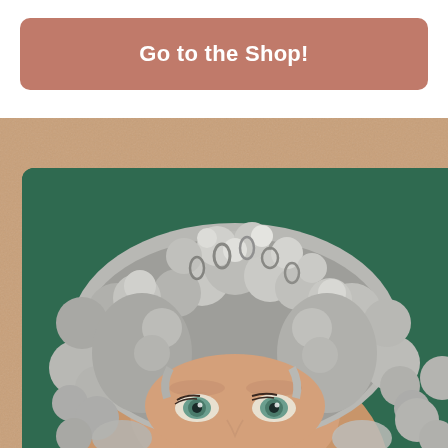Go to the Shop!
[Figure (photo): Portrait photo of a woman with curly gray/silver hair against a dark green background, showing her face from the forehead to the nose area with blue-green eyes visible.]